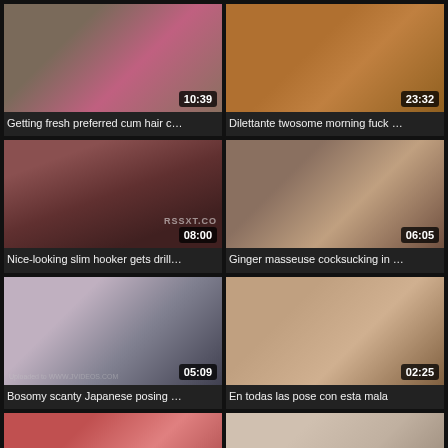[Figure (screenshot): Video thumbnail grid with 8 video cards in 2 columns, each showing a thumbnail image, duration badge, and title text]
Getting fresh preferred cum hair c…
Dilettante twosome morning fuck …
Nice-looking slim hooker gets drill…
Ginger masseuse cocksucking in …
Bosomy scanty Japanese posing …
En todas las pose con esta mala
[Figure (screenshot): Partial video thumbnail bottom row left]
[Figure (screenshot): Partial video thumbnail bottom row right]